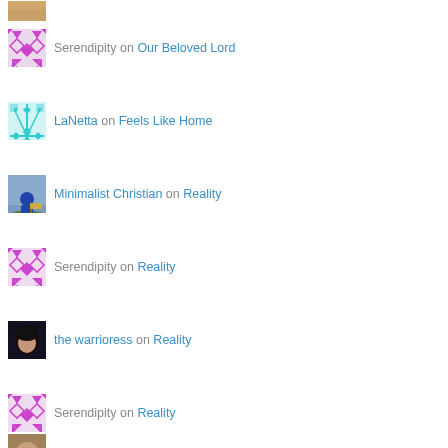[partial photo avatar] on [partial]
Serendipity on Our Beloved Lord
LaNetta on Feels Like Home
Minimalist Christian on Reality
Serendipity on Reality
the warrioress on Reality
Serendipity on Reality
Jessa Raven on Reality
Serendipity on Illegitimate Election 2020?